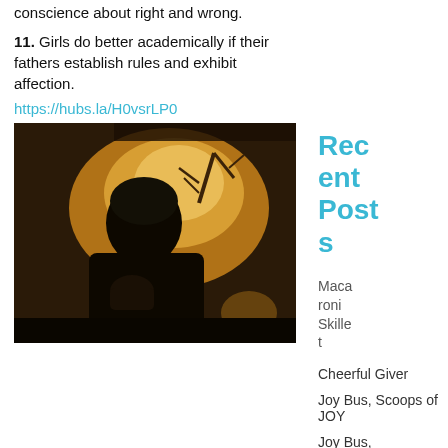conscience about right and wrong.
11. Girls do better academically if their fathers establish rules and exhibit affection.
https://hubs.la/H0vsrLP0
[Figure (photo): Sepia-toned photo of a silhouetted parent holding an infant near a window with warm backlight and a tree visible outside]
Recent Posts
Macaroni Skillet
Cheerful Giver
Joy Bus, Scoops of JOY
Joy Bus, Whitecaps Night